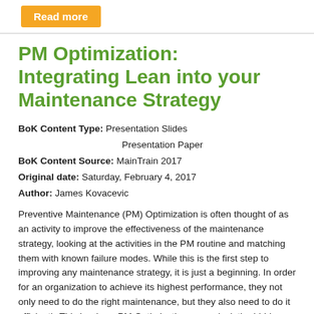Read more
PM Optimization: Integrating Lean into your Maintenance Strategy
BoK Content Type: Presentation Slides
Presentation Paper
BoK Content Source: MainTrain 2017
Original date: Saturday, February 4, 2017
Author: James Kovacevic
Preventive Maintenance (PM) Optimization is often thought of as an activity to improve the effectiveness of the maintenance strategy, looking at the activities in the PM routine and matching them with known failure modes. While this is the first step to improving any maintenance strategy, it is just a beginning. In order for an organization to achieve its highest performance, they not only need to do the right maintenance, but they also need to do it efficiently.This is where PM Optimization can unlock the hidden potential. When PM